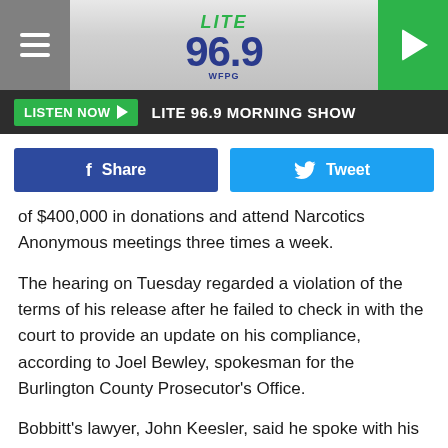[Figure (logo): Lite 96.9 WFPG radio station logo with hamburger menu icon on left and play button on right]
LISTEN NOW ▶  LITE 96.9 MORNING SHOW
[Figure (infographic): Social media share buttons: Facebook Share and Twitter Tweet]
of $400,000 in donations and attend Narcotics Anonymous meetings three times a week.
The hearing on Tuesday regarded a violation of the terms of his release after he failed to check in with the court to provide an update on his compliance, according to Joel Bewley, spokesman for the Burlington County Prosecutor's Office.
Bobbitt's lawyer, John Keesler, said he spoke with his client Friday and had expected him to appear in court.